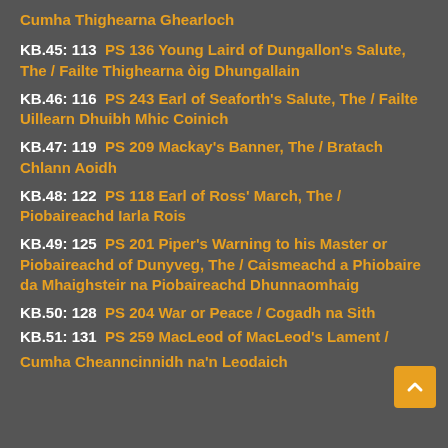Cumha Thighearna Ghearloch
KB.45: 113  PS 136 Young Laird of Dungallon's Salute, The / Failte Thighearna òig Dhungallain
KB.46: 116  PS 243 Earl of Seaforth's Salute, The / Failte Uillearn Dhuibh Mhic Coinich
KB.47: 119  PS 209 Mackay's Banner, The / Bratach Chlann Aoidh
KB.48: 122  PS 118 Earl of Ross' March, The / Piobaireachd Iarla Rois
KB.49: 125  PS 201 Piper's Warning to his Master or Piobaireachd of Dunyveg, The / Caismeachd a Phiobaire da Mhaighsteir na Piobaireachd Dhunnaomhaig
KB.50: 128  PS 204 War or Peace / Cogadh na Sith
KB.51: 131  PS 259 MacLeod of MacLeod's Lament / Cumha Cheanncinnidh na'n Leodaich